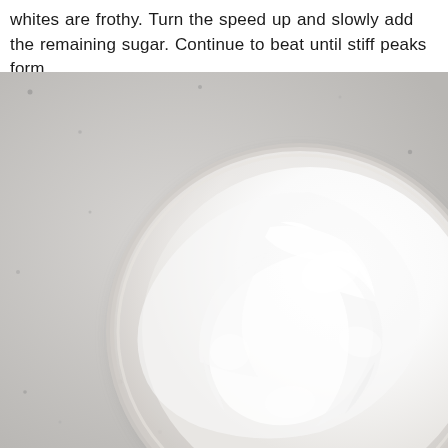whites are frothy. Turn the speed up and slowly add the remaining sugar. Continue to beat until stiff peaks form.
[Figure (photo): Overhead view of a glass bowl filled with whipped cream or meringue beaten to stiff peaks, on a light grey speckled surface. Social media share icons (plus, bird/Twitter, LinkedIn, Pinterest, bookmark) overlaid on the right side of the image.]